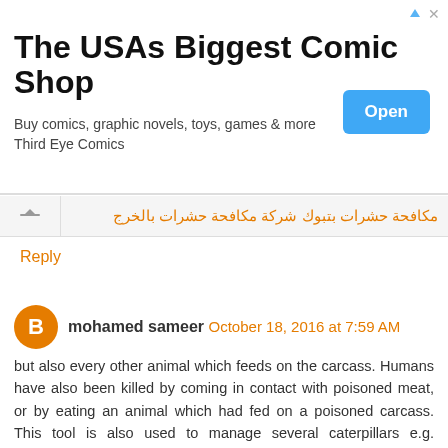[Figure (other): Advertisement banner for 'The USAs Biggest Comic Shop' with Open button]
مكافحة حشرات بتبوك شركة مكافحة حشرات بالخرج
Reply
mohamed sameer  October 18, 2016 at 7:59 AM
but also every other animal which feeds on the carcass. Humans have also been killed by coming in contact with poisoned meat, or by eating an animal which had fed on a poisoned carcass. This tool is also used to manage several caterpillars e.g. Spodoptera litura, fruit flies, snails and slugs, crabs etc.
شركة مكافحة حشرات بالاحساء شركة مكافحة النمل الابيض بالمدينه المنوره
شركة مكافحة النمل الابيض بالرياض شركة رش مبيدات بالرياض
شركة مكافحة حشرات بجدة شركة مكافحة النمل الابيض بجدة
شركة رش مبيدات بجدة شركة مكافحة حشرات بالدمام